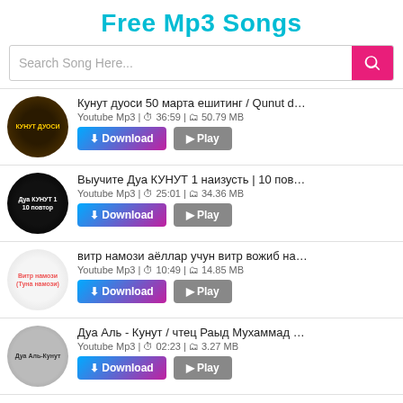Free Mp3 Songs
Search Song Here...
Кунут дуоси 50 марта ешитинг / Qunut duosi 50 marta | Youtube Mp3 | 36:59 | 50.79 MB
Выучите Дуа КУНУТ 1 наизусть | 10 повтор 🕌 | Youtube Mp3 | 25:01 | 34.36 MB
витр намози аёллар учун витр вожиб намози кандай у | Youtube Mp3 | 10:49 | 14.85 MB
Дуа Аль - Кунут / чтец Раыд Мухаммад Курди / 2 Рама | Youtube Mp3 | 02:23 | 3.27 MB